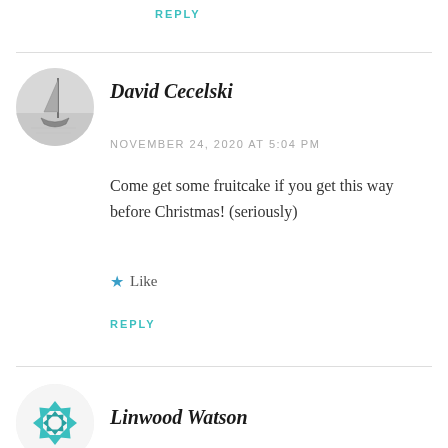REPLY
David Cecelski
NOVEMBER 24, 2020 AT 5:04 PM
Come get some fruitcake if you get this way before Christmas! (seriously)
Like
REPLY
Linwood Watson